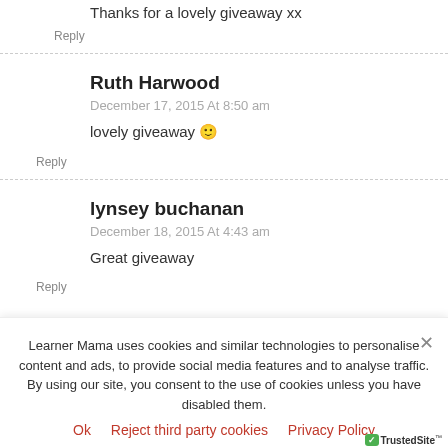Thanks for a lovely giveaway xx
Reply
Ruth Harwood
December 17, 2015 At 8:50 am
lovely giveaway 🙂
Reply
lynsey buchanan
December 18, 2015 At 4:43 am
Great giveaway
Reply
Learner Mama uses cookies and similar technologies to personalise content and ads, to provide social media features and to analyse traffic. By using our site, you consent to the use of cookies unless you have disabled them.
Ok   Reject third party cookies   Privacy Policy